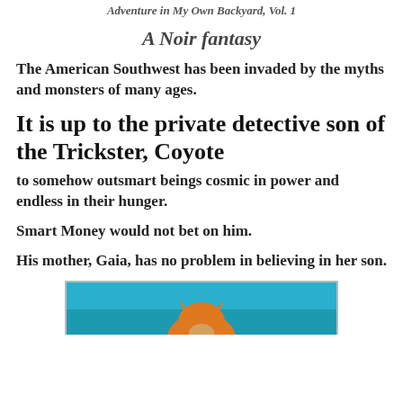Adventure in My Own Backyard, Vol. 1
A Noir fantasy
The American Southwest has been invaded by the myths and monsters of many ages.
It is up to the private detective son of the Trickster, Coyote
to somehow outsmart beings cosmic in power and endless in their hunger.
Smart Money would not bet on him.
His mother, Gaia, has no problem in believing in her son.
[Figure (illustration): Bottom portion of an illustrated image showing a teal/blue background with an orange coyote character, partially visible at the bottom of the page.]